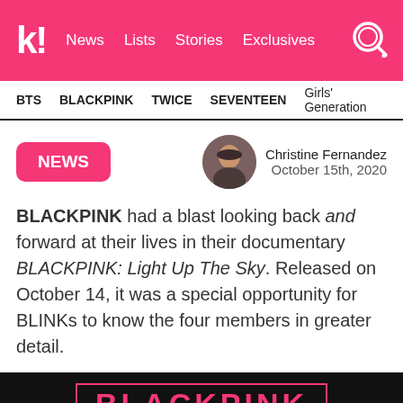koriaboo! | News  Lists  Stories  Exclusives
BTS  BLACKPINK  TWICE  SEVENTEEN  Girls' Generation
NEWS
Christine Fernandez
October 15th, 2020
BLACKPINK had a blast looking back and forward at their lives in their documentary BLACKPINK: Light Up The Sky. Released on October 14, it was a special opportunity for BLINKs to know the four members in greater detail.
[Figure (photo): Black background image with BLACKPINK: LIGHT UP THE SKY logo in pink text with a rectangular border]